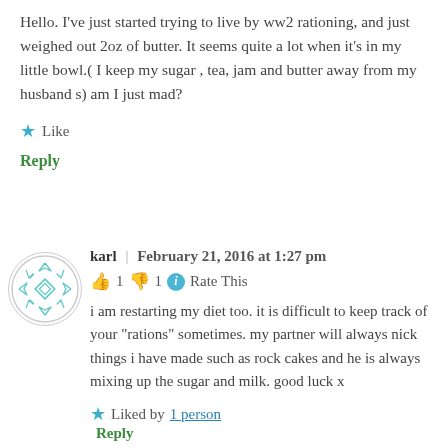Hello. I've just started trying to live by ww2 rationing, and just weighed out 2oz of butter. It seems quite a lot when it's in my little bowl.( I keep my sugar , tea, jam and butter away from my husband s) am I just mad?
★ Like
Reply
karl | February 21, 2016 at 1:27 pm
👍 1 👎 1 ℹ Rate This
i am restarting my diet too. it is difficult to keep track of your "rations" sometimes. my partner will always nick things i have made such as rock cakes and he is always mixing up the sugar and milk. good luck x
★ Liked by 1 person
Reply